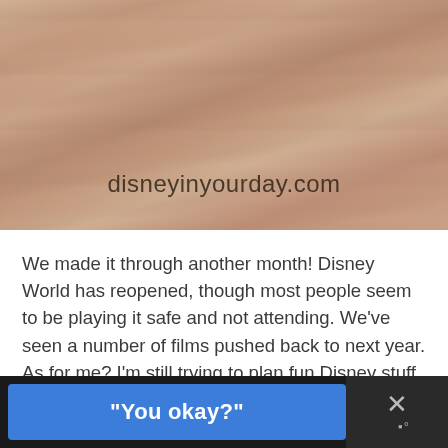[Figure (photo): Aerial or close-up photo of reddish-brown layered rock canyon walls with watermark text 'disneyinyourday.com' overlaid in cursive font]
We made it through another month! Disney World has reopened, though most people seem to be playing it safe and not attending. We've seen a number of films pushed back to next year. As for me? I'm still trying to plan fun Disney stuff at home and staying safe! Even though we're still in the [...]
[Figure (screenshot): Ad banner at bottom of screen with black background, blue button labeled '"You okay?"' and a close button with X symbol on the right]